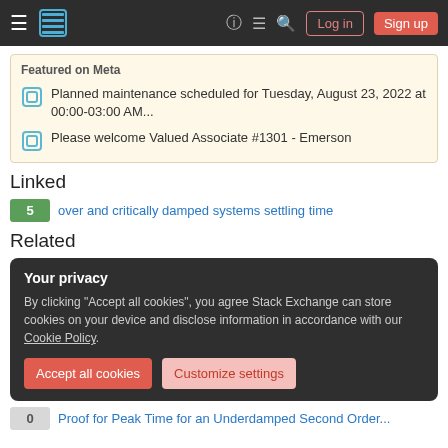Stack Exchange navigation bar with Log in and Sign up buttons
Featured on Meta
Planned maintenance scheduled for Tuesday, August 23, 2022 at 00:00-03:00 AM...
Please welcome Valued Associate #1301 - Emerson
Linked
5 — over and critically damped systems settling time
Related
Your privacy — By clicking "Accept all cookies", you agree Stack Exchange can store cookies on your device and disclose information in accordance with our Cookie Policy.
0 — Proof for Peak Time for an Underdamped Second Order...